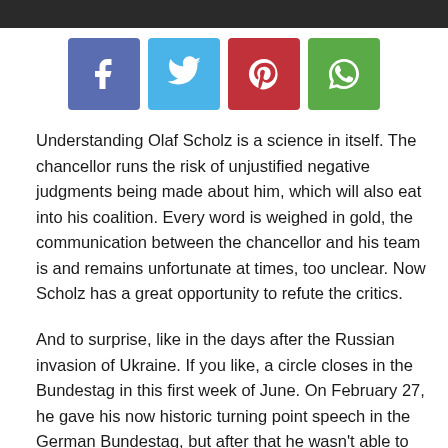[Figure (photo): Top portion of a person in dark suit with tie, cropped at the top of the page]
[Figure (infographic): Four social media share buttons: Facebook (blue-purple), Twitter (light blue), Pinterest (red), WhatsApp (green)]
Understanding Olaf Scholz is a science in itself. The chancellor runs the risk of unjustified negative judgments being made about him, which will also eat into his coalition. Every word is weighed in gold, the communication between the chancellor and his team is and remains unfortunate at times, too unclear. Now Scholz has a great opportunity to refute the critics.
And to surprise, like in the days after the Russian invasion of Ukraine. If you like, a circle closes in the Bundestag in this first week of June. On February 27, he gave his now historic turning point speech in the German Bundestag, but after that he wasn't able to deliver it convincingly.